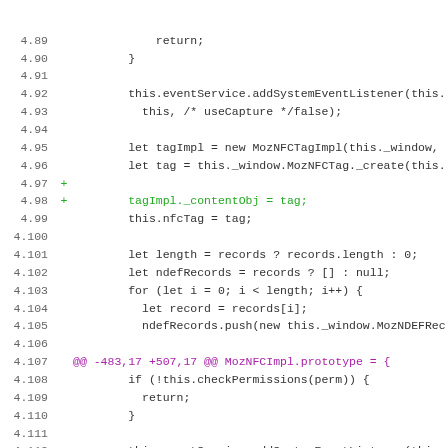[Figure (screenshot): Code diff showing JavaScript source changes, lines 4.89 through 4.121, with added lines marked in green (+) and removed lines marked in red (-), and diff headers in magenta.]